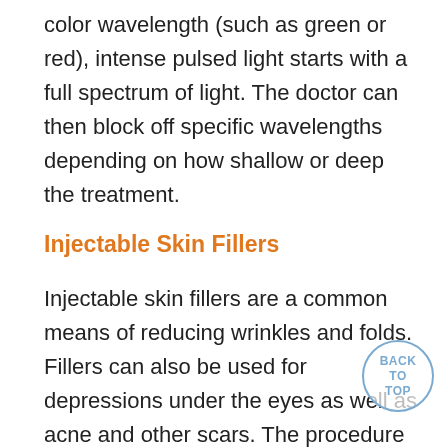color wavelength (such as green or red), intense pulsed light starts with a full spectrum of light. The doctor can then block off specific wavelengths depending on how shallow or deep the treatment.
Injectable Skin Fillers
Injectable skin fillers are a common means of reducing wrinkles and folds. Fillers can also be used for depressions under the eyes as well as acne and other scars. The procedure usually involves using a tiny needle and syringe to inject the filler material under the skin of the area to be treated. The aim of fillers is to replace tissue volume that has been lost due to aging or ill... For example, fillers are used to enhance the lips to... them fuller. The process is also referred to as soft tissue augmentation. The fillers are often used along with other